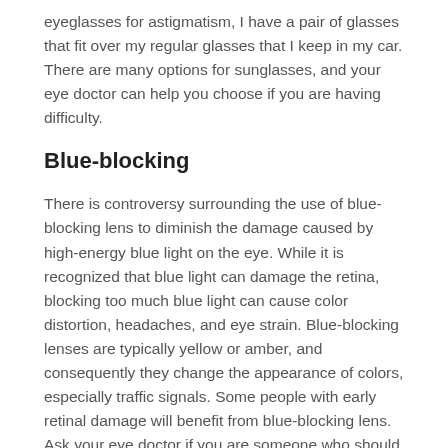eyeglasses for astigmatism, I have a pair of glasses that fit over my regular glasses that I keep in my car. There are many options for sunglasses, and your eye doctor can help you choose if you are having difficulty.
Blue-blocking
There is controversy surrounding the use of blue-blocking lens to diminish the damage caused by high-energy blue light on the eye. While it is recognized that blue light can damage the retina, blocking too much blue light can cause color distortion, headaches, and eye strain. Blue-blocking lenses are typically yellow or amber, and consequently they change the appearance of colors, especially traffic signals. Some people with early retinal damage will benefit from blue-blocking lens. Ask your eye doctor if you are someone who should have this type of lens.